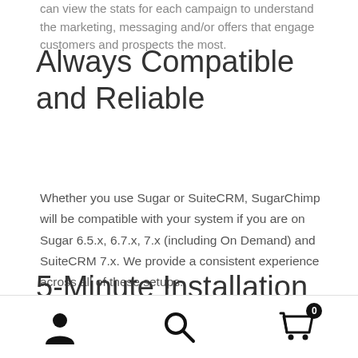can view the stats for each campaign to understand the marketing, messaging and/or offers that engage customers and prospects the most.
Always Compatible and Reliable
Whether you use Sugar or SuiteCRM, SugarChimp will be compatible with your system if you are on Sugar 6.5.x, 6.7.x, 7.x (including On Demand) and SuiteCRM 7.x. We provide a consistent experience across all of these setups.
5-Minute Installation with Easy Set-up